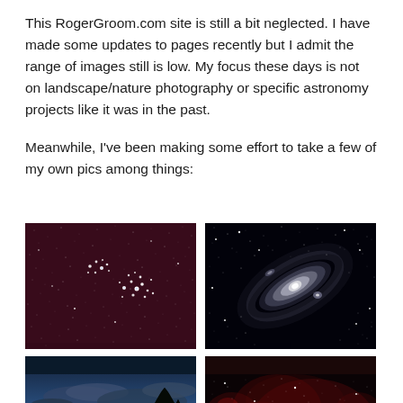This RogerGroom.com site is still a bit neglected. I have made some updates to pages recently but I admit the range of images still is low. My focus these days is not on landscape/nature photography or specific astronomy projects like it was in the past.
Meanwhile, I've been making some effort to take a few of my own pics among things:
[Figure (photo): Astronomy photo showing a star cluster against a reddish-purple background filled with stars]
[Figure (photo): Astronomy photo of Andromeda galaxy against a black background with many stars]
[Figure (photo): Twilight photo showing silhouetted trees against a blue and orange sky]
[Figure (photo): Astronomy photo showing red nebula and stars against dark background]